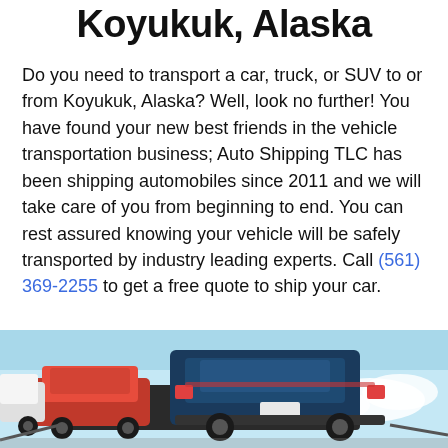Koyukuk, Alaska
Do you need to transport a car, truck, or SUV to or from Koyukuk, Alaska? Well, look no further! You have found your new best friends in the vehicle transportation business; Auto Shipping TLC has been shipping automobiles since 2011 and we will take care of you from beginning to end. You can rest assured knowing your vehicle will be safely transported by industry leading experts. Call (561) 369-2255 to get a free quote to ship your car.
[Figure (photo): Photo of multiple SUVs and cars on an auto transport carrier truck, seen from the rear, with a light blue sky background]